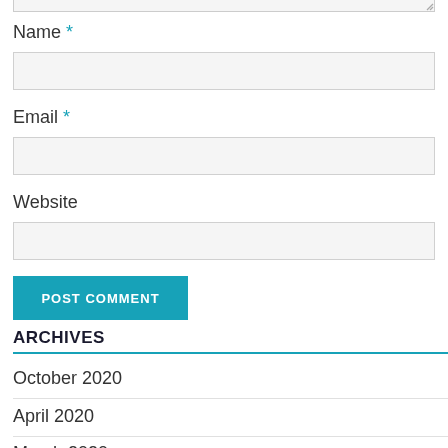Name *
Email *
Website
POST COMMENT
ARCHIVES
October 2020
April 2020
March 2020
February 2020